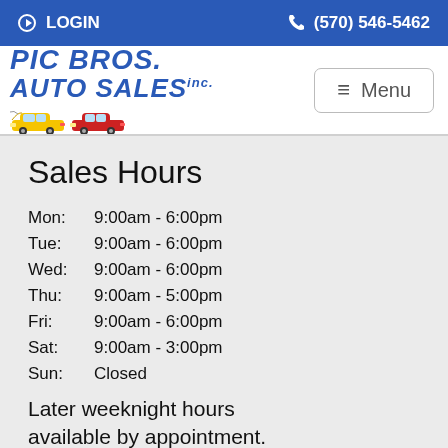LOGIN  (570) 546-5462
[Figure (logo): Pic Bros. Auto Sales logo with yellow and red cartoon cars]
Sales Hours
Mon:  9:00am - 6:00pm
Tue:  9:00am - 6:00pm
Wed:  9:00am - 6:00pm
Thu:  9:00am - 5:00pm
Fri:  9:00am - 6:00pm
Sat:  9:00am - 3:00pm
Sun:  Closed
Later weeknight hours available by appointment.
Browse Inventory